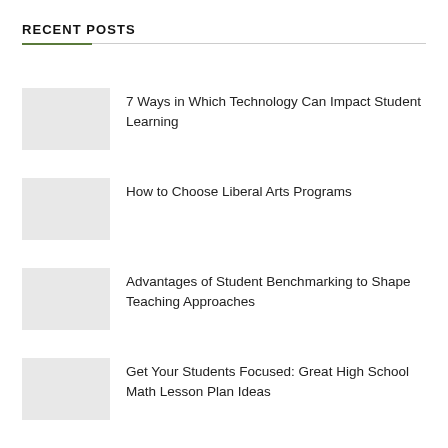RECENT POSTS
7 Ways in Which Technology Can Impact Student Learning
How to Choose Liberal Arts Programs
Advantages of Student Benchmarking to Shape Teaching Approaches
Get Your Students Focused: Great High School Math Lesson Plan Ideas